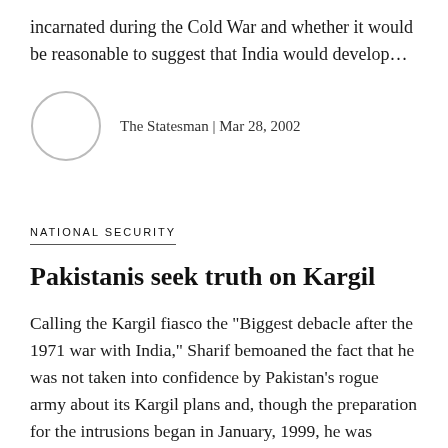incarnated during the Cold War and whether it would be reasonable to suggest that India would develop…
The Statesman | Mar 28, 2002
NATIONAL SECURITY
Pakistanis seek truth on Kargil
Calling the Kargil fiasco the "Biggest debacle after the 1971 war with India," Sharif bemoaned the fact that he was not taken into confidence by Pakistan's rogue army about its Kargil plans and, though the preparation for the intrusions began in January, 1999, he was informed only on May, 1999, when…